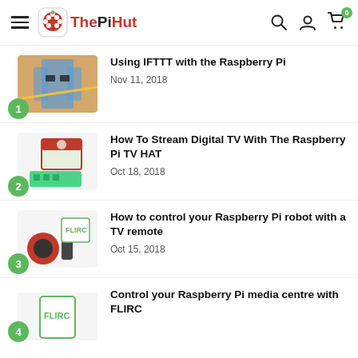The PiHut
Using IFTTT with the Raspberry Pi - Nov 11, 2018
How To Stream Digital TV With The Raspberry Pi TV HAT - Oct 18, 2018
How to control your Raspberry Pi robot with a TV remote - Oct 15, 2018
Control your Raspberry Pi media centre with FLIRC